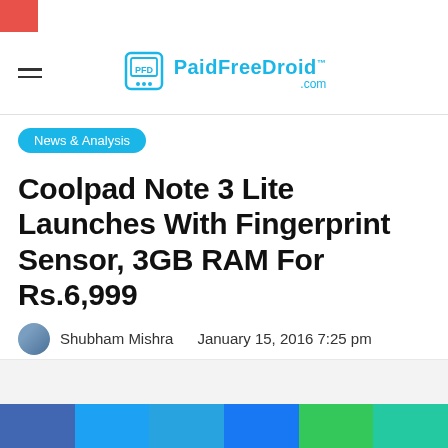PaidFreeDroid.com
News & Analysis
Coolpad Note 3 Lite Launches With Fingerprint Sensor, 3GB RAM For Rs.6,999
Shubham Mishra    January 15, 2016 7:25 pm
Last Updated: January 15, 2016 7:25 pm    0    83    1 minute read